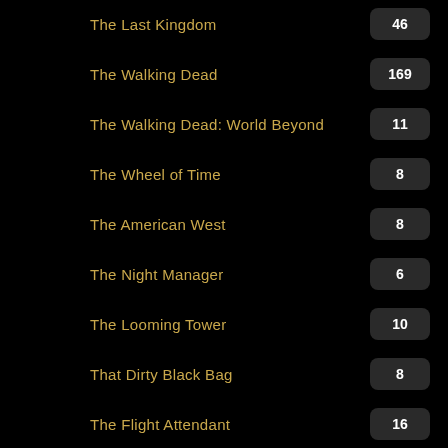The Last Kingdom
The Walking Dead
The Walking Dead: World Beyond
The Wheel of Time
The American West
The Night Manager
The Looming Tower
That Dirty Black Bag
The Flight Attendant
The Queen's Gambit
The Vampire Diaries